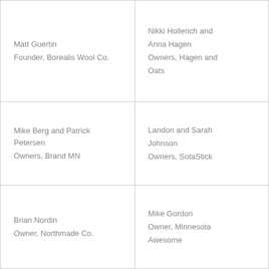| Matt Guertin
Founder, Borealis Wool Co. | Nikki Hollerich and Anna Hagen
Owners, Hagen and Oats |
| Mike Berg and Patrick Petersen
Owners, Brand MN | Landon and Sarah Johnson
Owners, SotaStick |
| Brian Nordin
Owner, Northmade Co. | Mike Gordon
Owner, Minnesota Awesome |